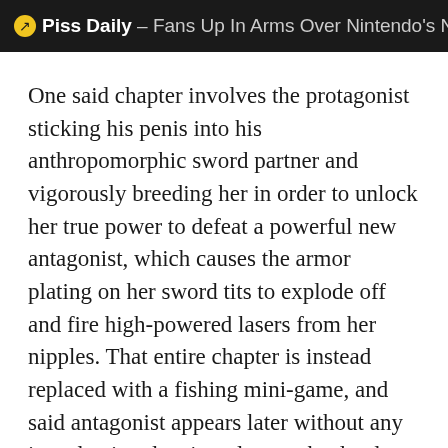Piss Daily – Fans Up In Arms Over Nintendo's N
One said chapter involves the protagonist sticking his penis into his anthropomorphic sword partner and vigorously breeding her in order to unlock her true power to defeat a powerful new antagonist, which causes the armor plating on her sword tits to explode off and fire high-powered lasers from her nipples. That entire chapter is instead replaced with a fishing mini-game, and said antagonist appears later without any introduction, leaving players absolutely baffled.